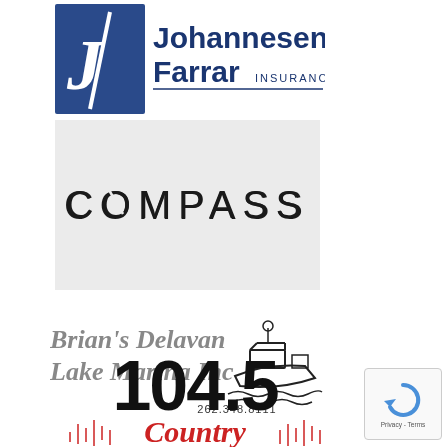[Figure (logo): Johannesen Farrar Insurance logo with blue stylized JF monogram and company name in blue with INSURANCE in small caps]
[Figure (logo): Compass real estate logo — word COMPASS in large thin spaced letters on light gray background]
[Figure (logo): Brian's Delavan Lake Marina Inc logo with italic serif text and boat illustration, phone number 262.348.8111]
[Figure (logo): 104.5 Country radio station logo with bold black 104.5 and Country in red/black script with sound wave graphic]
[Figure (logo): Google reCAPTCHA badge in bottom right corner showing circular arrow logo with Privacy - Terms text]